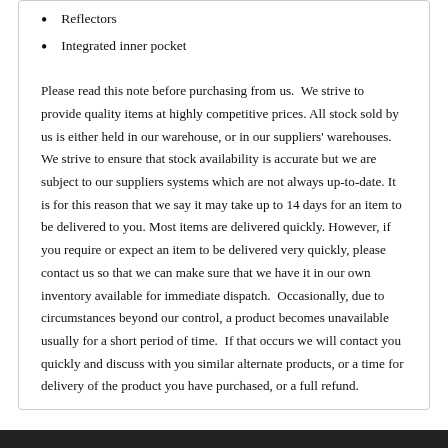Reflectors
Integrated inner pocket
Please read this note before purchasing from us.  We strive to provide quality items at highly competitive prices. All stock sold by us is either held in our warehouse, or in our suppliers' warehouses. We strive to ensure that stock availability is accurate but we are subject to our suppliers systems which are not always up-to-date. It is for this reason that we say it may take up to 14 days for an item to be delivered to you. Most items are delivered quickly. However, if you require or expect an item to be delivered very quickly, please contact us so that we can make sure that we have it in our own inventory available for immediate dispatch.  Occasionally, due to circumstances beyond our control, a product becomes unavailable usually for a short period of time.  If that occurs we will contact you quickly and discuss with you similar alternate products, or a time for delivery of the product you have purchased, or a full refund.